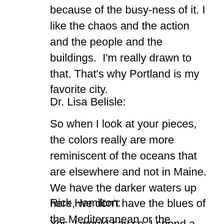because of the busy-ness of it. I like the chaos and the action and the people and the buildings.  I'm really drawn to that. That's why Portland is my favorite city.
Dr. Lisa Belisle:
So when I look at your pieces, the colors really are more reminiscent of the oceans that are elsewhere and not in Maine. We have the darker waters up here, we don't have the blues of the Mediterranean or the Carribean. Is this part of the reason why your palette looks the way that it does because of those influences?
Rick Hamilton:
Yes, I would say so. I spend a lot of time on